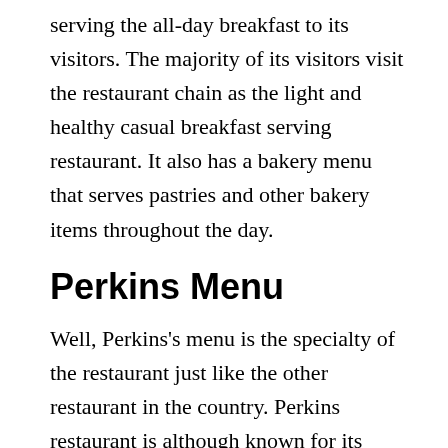serving the all-day breakfast to its visitors. The majority of its visitors visit the restaurant chain as the light and healthy casual breakfast serving restaurant. It also has a bakery menu that serves pastries and other bakery items throughout the day.
Perkins Menu
Well, Perkins's menu is the specialty of the restaurant just like the other restaurant in the country. Perkins restaurant is although known for its breakfast menu however it also has the serving options of lunch & dinner menu for the visitors. Perkins's menu includes the food items such as chicken steaks, shrimp